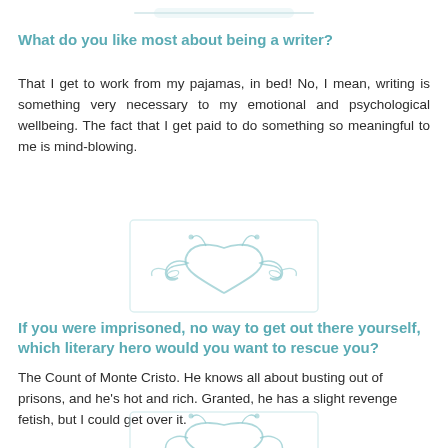[Figure (illustration): Decorative divider ornament at top of page, light teal floral/scroll design]
What do you like most about being a writer?
That I get to work from my pajamas, in bed! No, I mean, writing is something very necessary to my emotional and psychological wellbeing. The fact that I get paid to do something so meaningful to me is mind-blowing.
[Figure (illustration): Decorative ornament, light teal floral/scroll symmetrical design]
If you were imprisoned, no way to get out there yourself, which literary hero would you want to rescue you?
The Count of Monte Cristo. He knows all about busting out of prisons, and he's hot and rich. Granted, he has a slight revenge fetish, but I could get over it.
[Figure (illustration): Decorative ornament at bottom, light teal floral/scroll symmetrical design, partially visible]